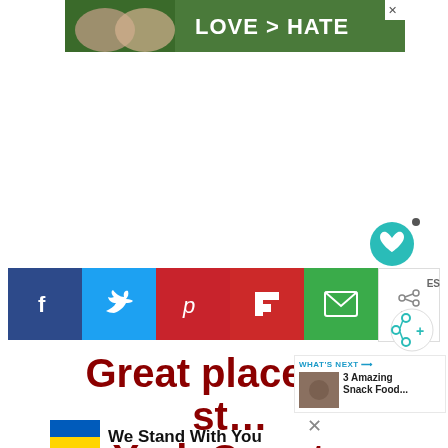[Figure (photo): Advertisement banner with hands forming a heart shape on green background, text LOVE > HATE in white bold letters, with close X button]
[Figure (infographic): Social media share buttons row: Facebook (dark blue, f icon), Twitter (light blue, bird icon), Pinterest (red, p icon), Flipboard (red, F icon), Email (green, envelope icon), and share count 675 with share icon]
Great places to st... York County
[Figure (infographic): WHAT'S NEXT panel with thumbnail image and text '3 Amazing Snack Food...']
[Figure (infographic): Ukraine flag (blue and yellow) with text 'We Stand With You']